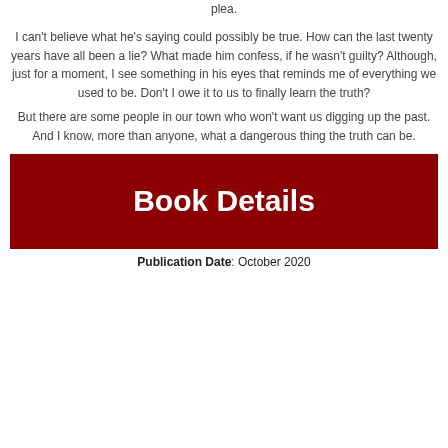plea.
I can't believe what he's saying could possibly be true. How can the last twenty years have all been a lie? What made him confess, if he wasn't guilty? Although, just for a moment, I see something in his eyes that reminds me of everything we used to be. Don't I owe it to us to finally learn the truth?
But there are some people in our town who won't want us digging up the past. And I know, more than anyone, what a dangerous thing the truth can be.
[Figure (other): Dark red banner with white bold text reading 'Book Details']
Publication Date: October 2020